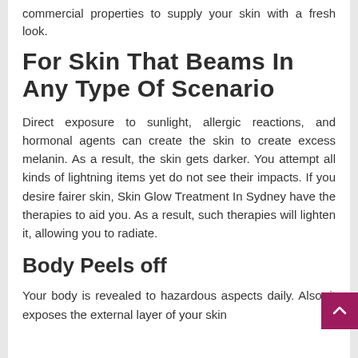commercial properties to supply your skin with a fresh look.
For Skin That Beams In Any Type Of Scenario
Direct exposure to sunlight, allergic reactions, and hormonal agents can create the skin to create excess melanin. As a result, the skin gets darker. You attempt all kinds of lightning items yet do not see their impacts. If you desire fairer skin, Skin Glow Treatment In Sydney have the therapies to aid you. As a result, such therapies will lighten it, allowing you to radiate.
Body Peels off
Your body is revealed to hazardous aspects daily. Also, it exposes the external layer of your skin